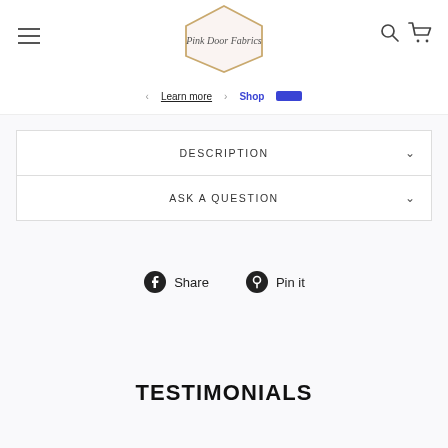[Figure (logo): Pink Door Fabrics logo with hexagon outline and script text]
Learn more
Shop Pay
DESCRIPTION
ASK A QUESTION
Share
Pin it
TESTIMONIALS